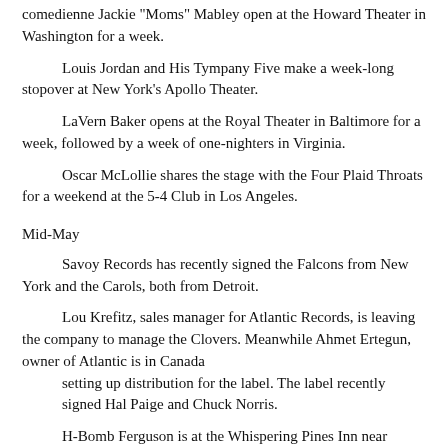comedienne Jackie "Moms" Mabley open at the Howard Theater in Washington for a week.
Louis Jordan and His Tympany Five make a week-long stopover at New York's Apollo Theater.
LaVern Baker opens at the Royal Theater in Baltimore for a week, followed by a week of one-nighters in Virginia.
Oscar McLollie shares the stage with the Four Plaid Throats for a weekend at the 5-4 Club in Los Angeles.
Mid-May
Savoy Records has recently signed the Falcons from New York and the Carols, both from Detroit.
Lou Krefitz, sales manager for Atlantic Records, is leaving the company to manage the Clovers. Meanwhile Ahmet Ertegun, owner of Atlantic is in Canada
        setting up distribution for the label. The label recently signed Hal Paige and Chuck Norris.
H-Bomb Ferguson is at the Whispering Pines Inn near Heightstown, New Jersey.